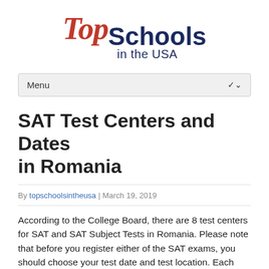[Figure (logo): Top Schools in the USA logo with 'Top' in red italic and 'Schools in the USA' in dark navy blue]
Menu
SAT Test Centers and Dates in Romania
By topschoolsintheusa | March 19, 2019
According to the College Board, there are 8 test centers for SAT and SAT Subject Tests in Romania. Please note that before you register either of the SAT exams, you should choose your test date and test location. Each test location is affiliated with an educational institution, such as high